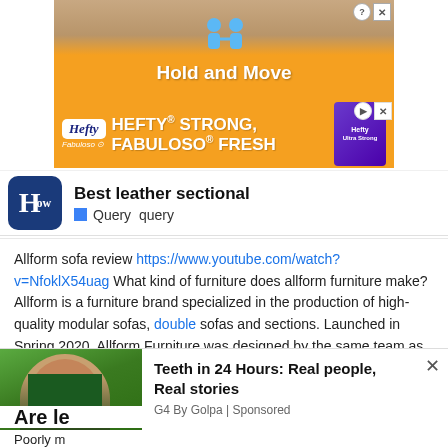[Figure (screenshot): Advertisement banner: 'Hold and Move' with blue figure icons on sandy/orange background]
[Figure (screenshot): Hefty brand advertisement: 'HEFTY STRONG, FABULOSO FRESH' on orange background with product image]
[Figure (screenshot): How.com logo and search bar showing 'Best leather sectional' query]
Allform sofa review https://www.youtube.com/watch?v=NfoklX54uag What kind of furniture does allform furniture make? Allform is a furniture brand specialized in the production of high-quality modular sofas, double sofas and sections. Launched in Spring 2020, Allform Furniture was designed by the same team as Helix Sleep, one of the most innovative mattress companies on the market. When does
[Figure (screenshot): Ad overlay: 'Teeth in 24 Hours: Real people, Real stories' by G4 By Golpa, Sponsored, with photo of smiling woman]
Are le
Poorly m
[Figure (screenshot): Wolf game advertisement: 'THE HUNT IS ON!' with wolves image on green background]